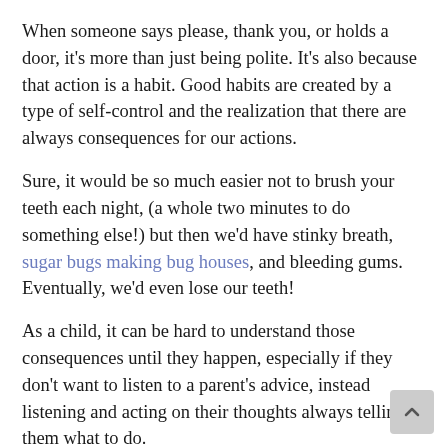When someone says please, thank you, or holds a door, it's more than just being polite. It's also because that action is a habit. Good habits are created by a type of self-control and the realization that there are always consequences for our actions.
Sure, it would be so much easier not to brush your teeth each night, (a whole two minutes to do something else!) but then we'd have stinky breath, sugar bugs making bug houses, and bleeding gums. Eventually, we'd even lose our teeth!
As a child, it can be hard to understand those consequences until they happen, especially if they don't want to listen to a parent's advice, instead listening and acting on their thoughts always telling them what to do.
SBA Books is proud to show you our newest picture book, created specifically to help children understand that sometimes our thoughts tell us to do things we shouldn't. Here's the synopsis:
When Lincoln wakes up one morning, Thought is there, telling him what to do. All day long Thought bosses Lincoln around. He makes him snatch toys away from others, he makes him throw temper tantrums, and even